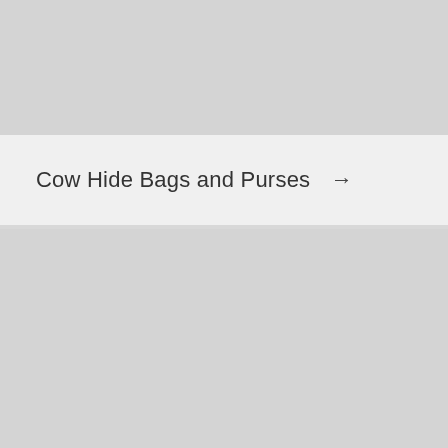[Figure (other): Gray placeholder image block at top of page]
Cow Hide Bags and Purses →
[Figure (other): Gray placeholder image block at bottom of page]